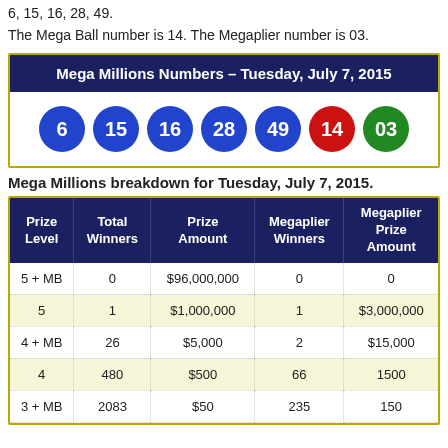6, 15, 16, 28, 49.
The Mega Ball number is 14. The Megaplier number is 03.
| Mega Millions Numbers – Tuesday, July 7, 2015 |
| --- |
| 6 | 15 | 16 | 28 | 49 | 14 | 03 |
Mega Millions breakdown for Tuesday, July 7, 2015.
| Prize Level | Total Winners | Prize Amount | Megaplier Winners | Megaplier Prize Amount |
| --- | --- | --- | --- | --- |
| 5 + MB | 0 | $96,000,000 | 0 | 0 |
| 5 | 1 | $1,000,000 | 1 | $3,000,000 |
| 4 + MB | 26 | $5,000 | 2 | $15,000 |
| 4 | 480 | $500 | 66 | 1500 |
| 3 + MB | 2083 | $50 | 235 | 150 |